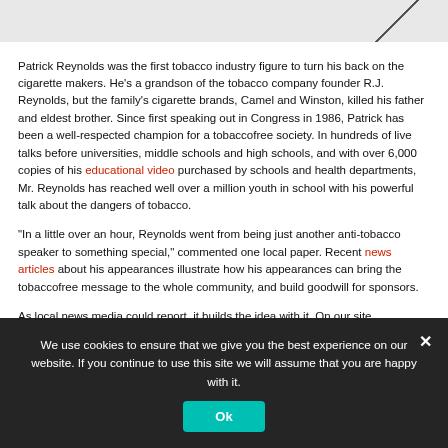[Figure (photo): Top strip image, appears to be a partially visible photograph with a diagonal line element on the right side]
Patrick Reynolds was the first tobacco industry figure to turn his back on the cigarette makers. He's a grandson of the tobacco company founder R.J. Reynolds, but the family's cigarette brands, Camel and Winston, killed his father and eldest brother. Since first speaking out in Congress in 1986, Patrick has been a well-respected champion for a tobaccofree society. In hundreds of live talks before universities, middle schools and high schools, and with over 6,000 copies of his educational video purchased by schools and health departments, Mr. Reynolds has reached well over a million youth in school with his powerful talk about the dangers of tobacco.
“In a little over an hour, Reynolds went from being just another anti-tobacco speaker to something special,” commented one local paper. Recent news articles about his appearances illustrate how his appearances can bring the tobaccofree message to the whole community, and build goodwill for sponsors.
As local news media could report, it builds the idea with it. On our site
We use cookies to ensure that we give you the best experience on our website. If you continue to use this site we will assume that you are happy with it.